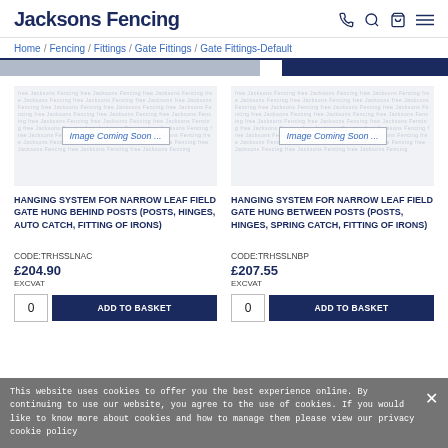Jacksons Fencing
Home / Fencing / Fittings / Gate Fittings / Gate Fittings-Default
[Figure (screenshot): Navigation strip with grey and dark navy sections]
[Figure (photo): Image Coming Soon placeholder for Hanging System for Narrow Leaf Field Gate Hung Behind Posts]
[Figure (photo): Image Coming Soon placeholder for Hanging System for Narrow Leaf Field Gate Hung Between Posts]
HANGING SYSTEM FOR NARROW LEAF FIELD GATE HUNG BEHIND POSTS (POSTS, HINGES, AUTO CATCH, FITTING OF IRONS)
HANGING SYSTEM FOR NARROW LEAF FIELD GATE HUNG BETWEEN POSTS (POSTS, HINGES, SPRING CATCH, FITTING OF IRONS)
CODE:TRHSSLNAC
£204.90
EXCVAT
CODE:TRHSSLNBP
£207.55
EXCVAT
This website uses cookies to offer you the best experience online. By continuing to use our website, you agree to the use of cookies. If you would like to know more about cookies and how to manage them please view our privacy cookie policy